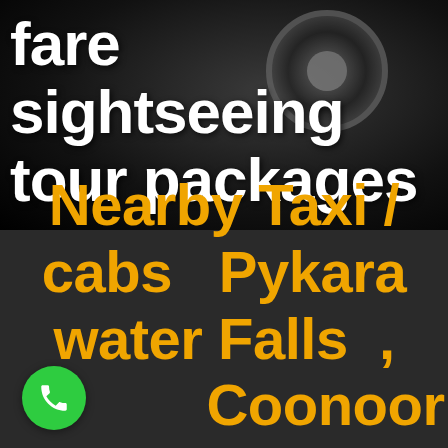fare sightseeing tour packages
[Figure (illustration): Dark background with a car wheel/rim visible on the right side, partially cropped. Black and dark grey tones.]
Nearby Taxi / cabs  Pykara water Falls , Coonoor Ooty